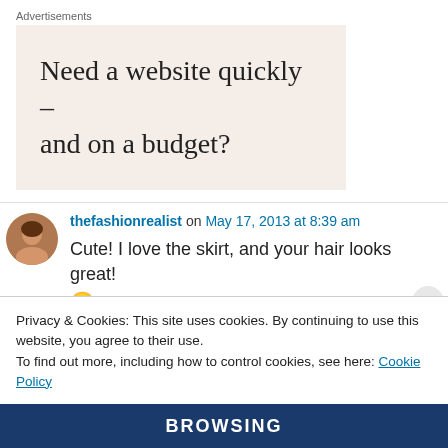Advertisements
[Figure (other): Advertisement banner with beige background, text: Need a website quickly – and on a budget?]
thefashionrealist on May 17, 2013 at 8:39 am
Cute! I love the skirt, and your hair looks great! 😐
Privacy & Cookies: This site uses cookies. By continuing to use this website, you agree to their use.
To find out more, including how to control cookies, see here: Cookie Policy
Close and accept